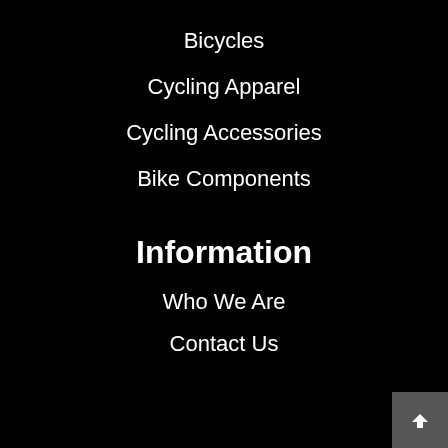Bicycles
Cycling Apparel
Cycling Accessories
Bike Components
Information
Who We Are
Contact Us
[Figure (illustration): Facebook icon and Yelp icon in white on black background, with a gray back-to-top arrow button in the bottom right corner]